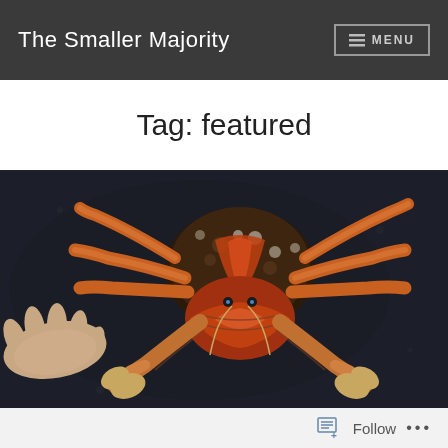The Smaller Majority | MENU
Tag: featured
[Figure (photo): A large coconut crab (Birgus latro) photographed from above on a dark surface, with a human hand visible on the left for scale. The crab has vivid orange-red claws and legs, a dark spotted shell, and long antenna. It appears to be a very large specimen.]
Follow ...